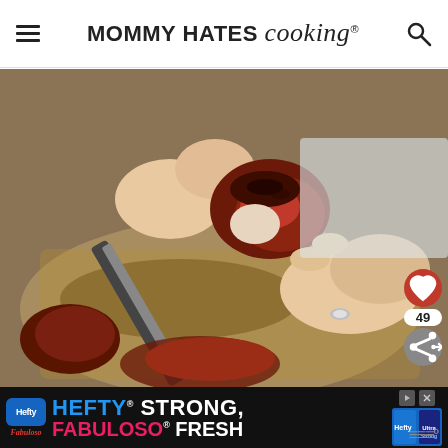MOMMY HATES cooking®
[Figure (photo): Close-up of a person's hands pulling apart a piece of cooked, glazed meat (ribs or pork), with a knife and baking tray visible on the wooden surface below.]
49
[Figure (infographic): Advertisement banner: Hefty® STRONG, FABULOSO® FRESH - dark background with blue Hefty logo, pink Fabuloso branding, and product imagery on the right.]